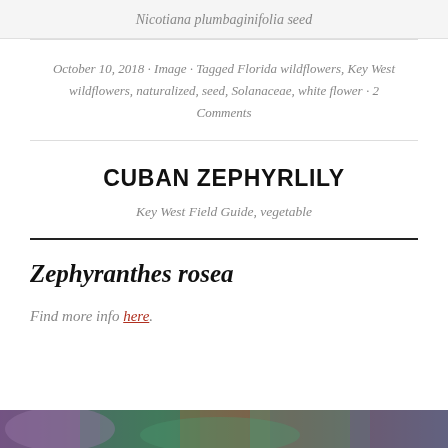Nicotiana plumbaginifolia seed
October 10, 2018 · Image · Tagged Florida wildflowers, Key West wildflowers, naturalized, seed, Solanaceae, white flower · 2 Comments
CUBAN ZEPHYRLILY
Key West Field Guide, vegetable
Zephyranthes rosea
Find more info here.
[Figure (photo): Partial view of Cuban Zephyrlily flower at bottom of page]